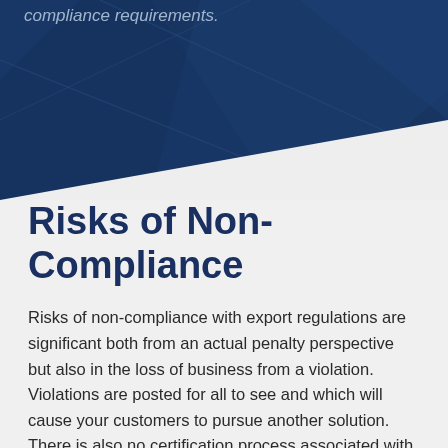[Figure (photo): Dark navy blue background with diagonal geometric shapes, partial view of compliance-related graphic with faint text reading 'compliance requirements.']
compliance requirements.
Risks of Non-Compliance
Risks of non-compliance with export regulations are significant both from an actual penalty perspective but also in the loss of business from a violation. Violations are posted for all to see and which will cause your customers to pursue another solution. There is also no certification process associated with